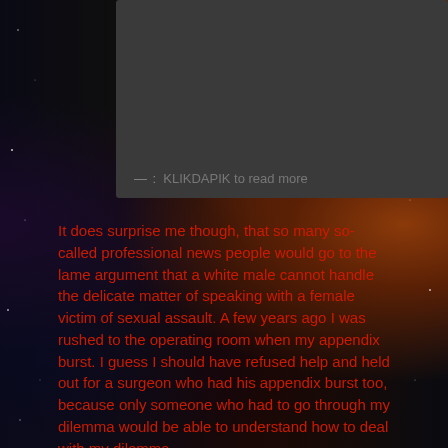[Figure (photo): Dark gray content card with text at bottom: '— : KLIKDAPIK to read more']
It does surprise me though, that so many so-called professional news people would go to the lame argument that a white male cannot handle the delicate matter of speaking with a female victim of sexual assault. A few years ago I was rushed to the operating room when my appendix burst. I guess I should have refused help and held out for a surgeon who had his appendix burst too, because only someone who had to go through my dilemma would be able to understand how to deal with my dilemma.